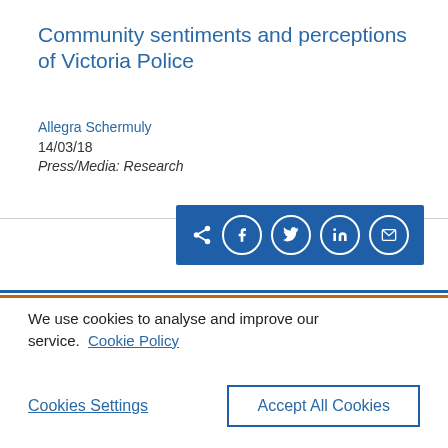Community sentiments and perceptions of Victoria Police
Allegra Schermuly
14/03/18
Press/Media: Research
[Figure (other): Social share bar with share, Facebook, Twitter, LinkedIn, and email icons on a blue background]
We use cookies to analyse and improve our service. Cookie Policy
Cookies Settings
Accept All Cookies